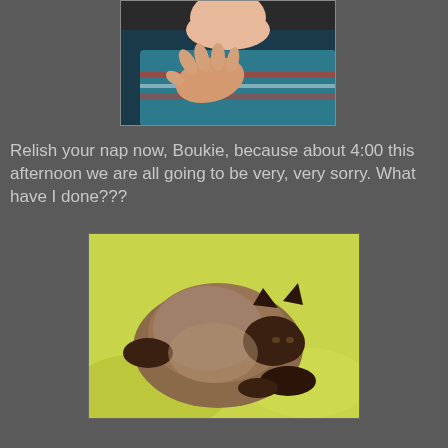[Figure (photo): Close-up photo of a child's hand resting on a teal and striped sweater, with a baby visible in the background.]
Relish your nap now, Boukie, because about 4:00 this afternoon we are all going to be very, very sorry. What have I done???
[Figure (photo): A Siamese cat curled up sleeping on a yellow-green pillow or cushion.]